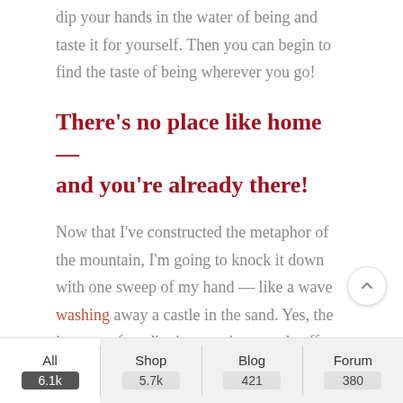dip your hands in the water of being and taste it for yourself. Then you can begin to find the taste of being wherever you go!
There's no place like home — and you're already there!
Now that I've constructed the metaphor of the mountain, I'm going to knock it down with one sweep of my hand — like a wave washing away a castle in the sand. Yes, the journey of meditation requires steady effort and application like a climb a mountain. But that metaphor hides some
All 6.1k | Shop 5.7k | Blog 421 | Forum 380